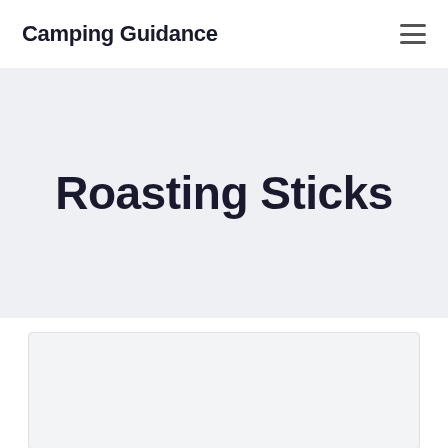Camping Guidance
Roasting Sticks
[Figure (photo): Large image placeholder for roasting sticks content, shown as a light grey rectangle]